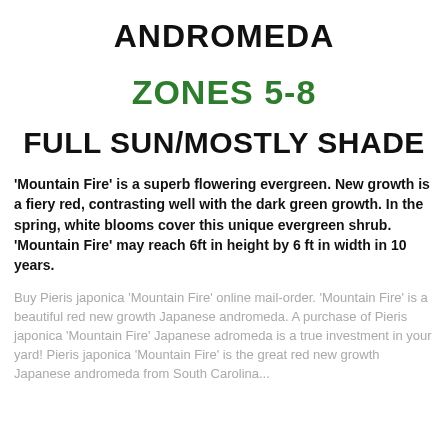ANDROMEDA
ZONES 5-8
FULL SUN/MOSTLY SHADE
'Mountain Fire' is a superb flowering evergreen. New growth is a fiery red, contrasting well with the dark green growth. In the spring, white blooms cover this unique evergreen shrub. 'Mountain Fire' may reach 6ft in height by 6 ft in width in 10 years.
Buy Pieris japonica 'Mountain Fire' online mail-order. 'Mountain Fire' is a beautiful red new growth Japanese andromeda. A purchase of Pieris japonica 'Mountain Fire' Japanese adromeda is a true investment in your yard! Pieris japonica 'Mountain Fire' is the great red new growth Japanese andromeda from South Carolina...